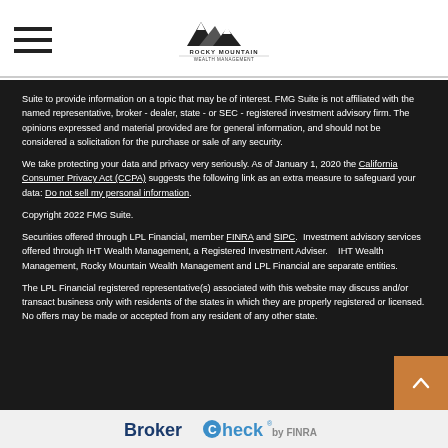Rocky Mountain Wealth Management
Suite to provide information on a topic that may be of interest. FMG Suite is not affiliated with the named representative, broker - dealer, state - or SEC - registered investment advisory firm. The opinions expressed and material provided are for general information, and should not be considered a solicitation for the purchase or sale of any security.
We take protecting your data and privacy very seriously. As of January 1, 2020 the California Consumer Privacy Act (CCPA) suggests the following link as an extra measure to safeguard your data: Do not sell my personal information.
Copyright 2022 FMG Suite.
Securities offered through LPL Financial, member FINRA and SIPC.  Investment advisory services offered through IHT Wealth Management, a Registered Investment Adviser.   IHT Wealth Management, Rocky Mountain Wealth Management and LPL Financial are separate entities.
The LPL Financial registered representative(s) associated with this website may discuss and/or transact business only with residents of the states in which they are properly registered or licensed. No offers may be made or accepted from any resident of any other state.
BrokerCheck by FINRA